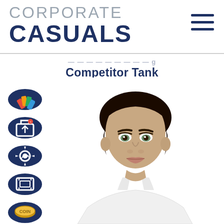CORPORATE CASUALS
Competitor Tank
[Figure (photo): Young male model wearing a white athletic tank top, close-up portrait shot from chest up, white background]
[Figure (infographic): Four dark navy circular icon buttons on the left side: color swatch/palette icon, upload image icon, settings/customization icon, image resize icon, and a coin/token icon at bottom]